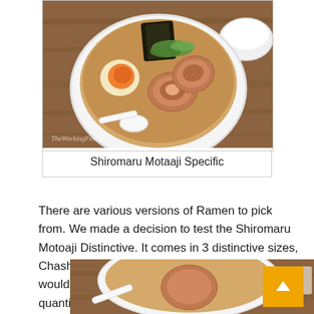[Figure (photo): Overhead photo of a bowl of Shiromaru ramen with soft-boiled egg, chashu pork slices, nori seaweed, green onions, and soup spoon on a wooden table with a small bowl to the side.]
Shiromaru Motaaji Specific
There are various versions of Ramen to pick from. We made a decision to test the Shiromaru Motoaji Distinctive. It comes in 3 distinctive sizes, Chashu, Tamago and Standard. The variation would be the addition of seaweed, eggs and the quantity of Chashu slices.
[Figure (photo): Partial photo of a bowl of ramen on a wooden table, bottom of page.]